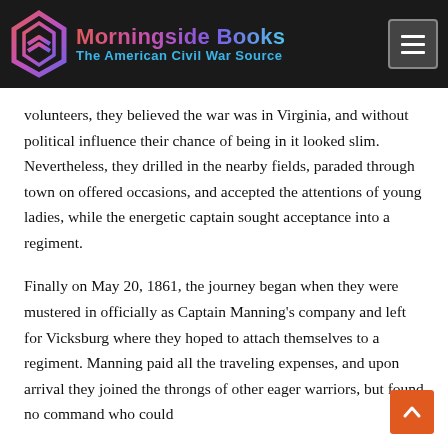Morningside Books — The American Civil War Source
volunteers, they believed the war was in Virginia, and without political influence their chance of being in it looked slim. Nevertheless, they drilled in the nearby fields, paraded through town on offered occasions, and accepted the attentions of young ladies, while the energetic captain sought acceptance into a regiment.
Finally on May 20, 1861, the journey began when they were mustered in officially as Captain Manning's company and left for Vicksburg where they hoped to attach themselves to a regiment. Manning paid all the traveling expenses, and upon arrival they joined the throngs of other eager warriors, but found no command who could